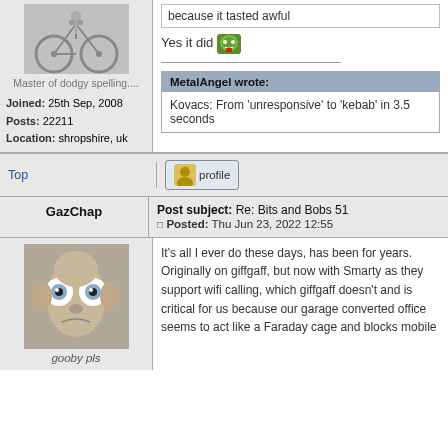[Figure (photo): Grayscale photo of a person with a bicycle]
Master of dodgy spelling....
Joined: 25th Sep, 2008
Posts: 22211
Location: shropshire, uk
Yes it did [emoji]
MetalAngel wrote:
Kovacs: From 'unresponsive' to 'kebab' in 3.5 seconds
Top
[Figure (other): Profile button icon]
Post subject: Re: Bits and Bobs 51
Posted: Thu Jun 23, 2022 12:55
GazChap
[Figure (photo): Funny photo of a Gollum-like figure with big eyes]
gooby pls
It's all I ever do these days, has been for years. Originally on giffgaff, but now with Smarty as they support wifi calling, which giffgaff doesn't and is critical for us because our garage converted office seems to act like a Faraday cage and blocks mobile